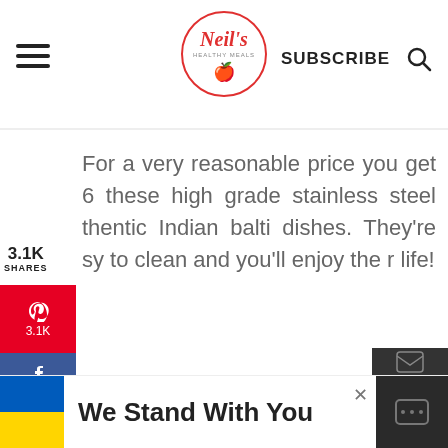[Figure (logo): Neil's Healthy Meals logo — circular border with italic script text and tomato icon]
SUBSCRIBE
3.1K SHARES
For a very reasonable price you get 6 these high grade stainless steel thentic Indian balti dishes. They're sy to clean and you'll enjoy the r life!
SUBSCRIBE TO NEIL'S H MEALS
WHAT'S NEXT → Low Fat Tzatziki Dip
We Stand With You